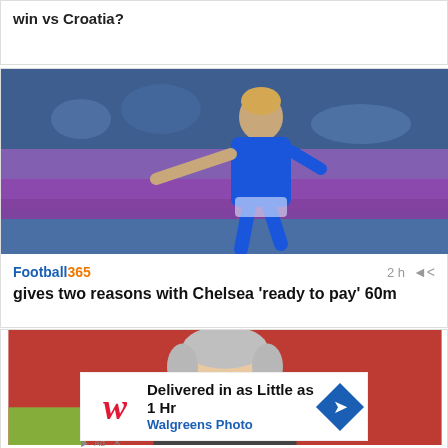win vs Croatia?
[Figure (photo): Soccer player in blue Chelsea kit running and pointing]
Football365  2h  gives two reasons with Chelsea 'ready to pay' 60m
[Figure (photo): Older man with grey hair smiling, wearing earpiece, at a football venue]
[Figure (infographic): Walgreens Photo advertisement: Delivered in as Little as 1 Hr]